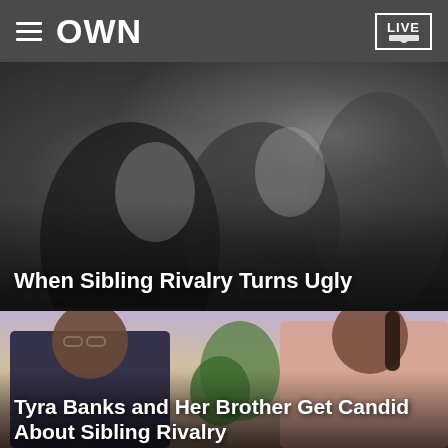OWN   LIVE
[Figure (photo): Black and white video still showing people in a confrontational scene, related to sibling rivalry]
When Sibling Rivalry Turns Ugly
[Figure (photo): Color TV studio photo showing Tyra Banks and her brother sitting together on a talk show set]
Tyra Banks and Her Brother Get Candid About Sibling Rivalry